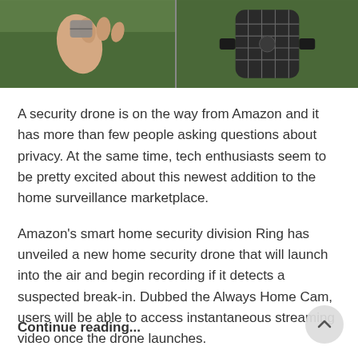[Figure (photo): Two-panel photo strip: left panel shows a hand holding a small drone or device against a green background; right panel shows a top-down view of a round drone with grid-like rotor guards against a green background.]
A security drone is on the way from Amazon and it has more than few people asking questions about privacy. At the same time, tech enthusiasts seem to be pretty excited about this newest addition to the home surveillance marketplace.
Amazon's smart home security division Ring has unveiled a new home security drone that will launch into the air and begin recording if it detects a suspected break-in. Dubbed the Always Home Cam, users will be able to access instantaneous streaming video once the drone launches.
Continue reading...